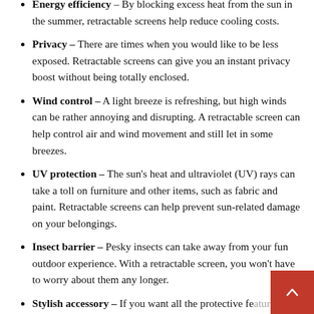Energy efficiency – By blocking excess heat from the sun in the summer, retractable screens help reduce cooling costs.
Privacy – There are times when you would like to be less exposed. Retractable screens can give you an instant privacy boost without being totally enclosed.
Wind control – A light breeze is refreshing, but high winds can be rather annoying and disrupting. A retractable screen can help control air and wind movement and still let in some breezes.
UV protection – The sun's heat and ultraviolet (UV) rays can take a toll on furniture and other items, such as fabric and paint. Retractable screens can help prevent sun-related damage on your belongings.
Insect barrier – Pesky insects can take away from your fun outdoor experience. With a retractable screen, you won't have to worry about them any longer.
Stylish accessory – If you want all the protective fe… of a screen but still want to retain style and curb ap…